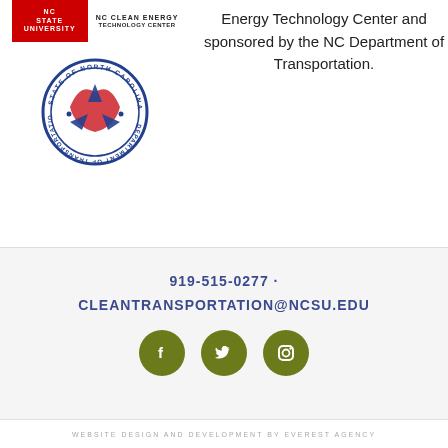[Figure (logo): NC State University red logo block, NC Clean Energy Technology Center logo, and NC Department of Transportation circular seal]
Energy Technology Center and sponsored by the NC Department of Transportation.
919-515-0277 · CLEANTRANSPORTATION@NCSU.EDU
[Figure (other): Three olive-green social media icons: Facebook, Twitter, Instagram]
WEBSITE DESIGN AND DEVELOPMENT BY EVEREST AGENCY